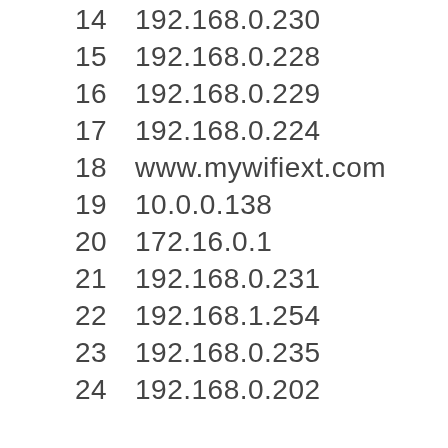14    192.168.0.230
15    192.168.0.228
16    192.168.0.229
17    192.168.0.224
18    www.mywifiext.com
19    10.0.0.138
20    172.16.0.1
21    192.168.0.231
22    192.168.1.254
23    192.168.0.235
24    192.168.0.202